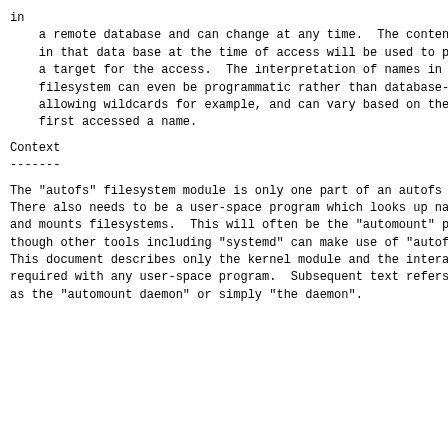in
    a remote database and can change at any time.  The content
    in that data base at the time of access will be used to provide
    a target for the access.  The interpretation of names in the
    filesystem can even be programmatic rather than database-backed,
    allowing wildcards for example, and can vary based on the user who
    first accessed a name.
Context
-------
The "autofs" filesystem module is only one part of an autofs system.
There also needs to be a user-space program which looks up names
and mounts filesystems.  This will often be the "automount" program,
though other tools including "systemd" can make use of "autofs".
This document describes only the kernel module and the interactions
required with any user-space program.  Subsequent text refers to this
as the "automount daemon" or simply "the daemon".